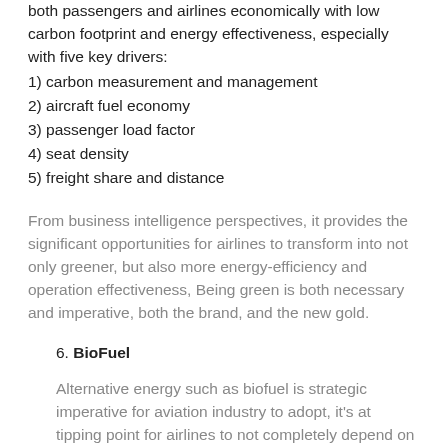both passengers and airlines economically with low carbon footprint and energy effectiveness, especially with five key drivers:
1) carbon measurement and management
2) aircraft fuel economy
3) passenger load factor
4) seat density
5) freight share and distance
From business intelligence perspectives, it provides the significant opportunities for airlines to transform into not only greener, but also more energy-efficiency and operation effectiveness, Being green is both necessary and imperative, both the brand, and the new gold.
6. BioFuel
Alternative energy such as biofuel is strategic imperative for aviation industry to adopt, it's at tipping point for airlines to not completely depend on petroleum oil since 30+% of cost is from hiking fuel cost in 2011, it's one of the key obstacles to keep the airline vulnerable, and the